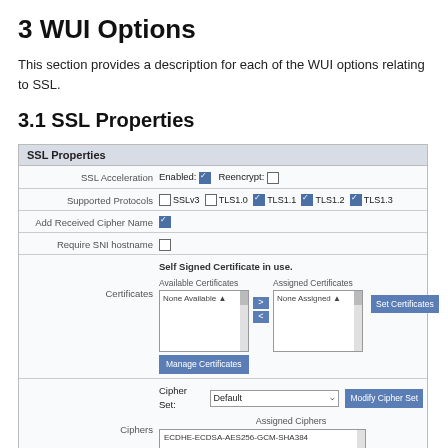3 WUI Options
This section provides a description for each of the WUI options relating to SSL.
3.1 SSL Properties
[Figure (screenshot): SSL Properties configuration panel showing SSL Acceleration (Enabled checked, Reencrypt unchecked), Supported Protocols (TLS1.1, TLS1.2, TLS1.3 checked), Add Received Cipher Name (checked), Require SNI hostname (unchecked), Certificates section with Available and Assigned listboxes, Manage Certificates and Set Certificates buttons, Ciphers section with Default cipher set and assigned ciphers list, Client Certificates dropdown set to No Client Certificates required.]